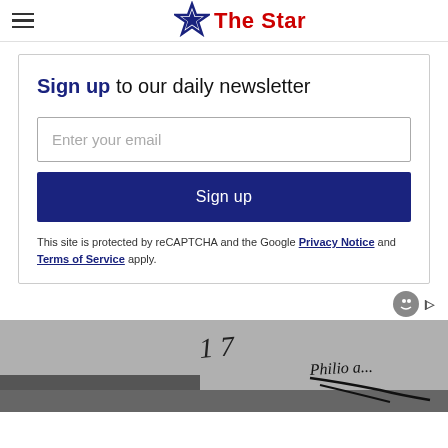The Star
Sign up to our daily newsletter
Enter your email
Sign up
This site is protected by reCAPTCHA and the Google Privacy Notice and Terms of Service apply.
[Figure (photo): Partial view of a handwritten document or signature, shown at bottom of page]